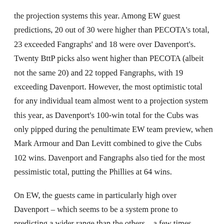the projection systems this year. Among EW guest predictions, 20 out of 30 were higher than PECOTA's total, 23 exceeded Fangraphs' and 18 were over Davenport's. Twenty BttP picks also went higher than PECOTA (albeit not the same 20) and 22 topped Fangraphs, with 19 exceeding Davenport. However, the most optimistic total for any individual team almost went to a projection system this year, as Davenport's 100-win total for the Cubs was only pipped during the penultimate EW team preview, when Mark Armour and Dan Levitt combined to give the Cubs 102 wins. Davenport and Fangraphs also tied for the most pessimistic total, putting the Phillies at 64 wins.
On EW, the guests came in particularly high over Davenport – which seems to be a system prone to predicting a wider range than the others – a few times, including another Royals outlier (Sam Mellinger's 87, +17), some relative Padres optimism from